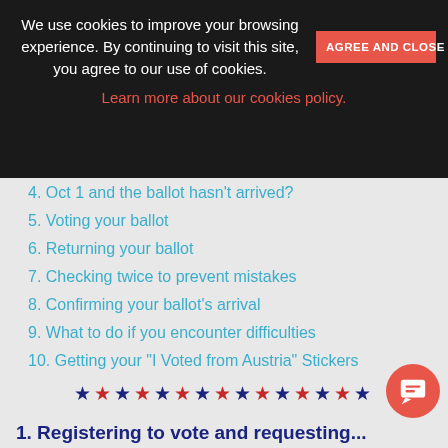We use cookies to improve your browsing experience. By continuing to visit this site, you agree to our use of cookies.
AGREE AND CLOSE
Learn more about our cookies policy.
4. Oct 1 and the ballot hasn't arrived?
5. Voting your ballot
6. Returning your ballot
7. Checking twice to prevent mistakes
8. Confirming your ballot's arrival
9. What to do if you encounter difficulties
10. Getting your "I Voted from Austria" Stickers
[Figure (illustration): Row of alternating blue and red stars decorative divider]
1. Registering to vote and requesting...